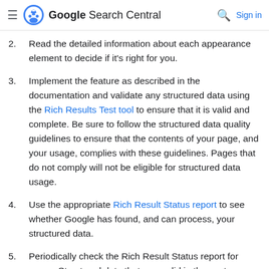Google Search Central  Sign in
2. Read the detailed information about each appearance element to decide if it's right for you.
3. Implement the feature as described in the documentation and validate any structured data using the Rich Results Test tool to ensure that it is valid and complete. Be sure to follow the structured data quality guidelines to ensure that the contents of your page, and your usage, complies with these guidelines. Pages that do not comply will not be eligible for structured data usage.
4. Use the appropriate Rich Result Status report to see whether Google has found, and can process, your structured data.
5. Periodically check the Rich Result Status report for errors. Structured data that was valid in the past can suddenly develop errors if you change a site template